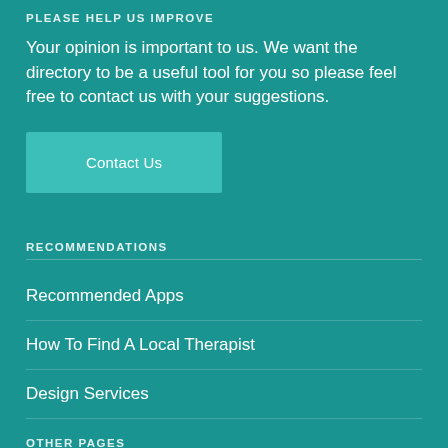PLEASE HELP US IMPROVE
Your opinion is important to us. We want the directory to be a useful tool for you so please feel free to contact us with your suggestions.
Contact Us
RECOMMENDATIONS
Recommended Apps
How To Find A Local Therapist
Design Services
OTHER PAGES